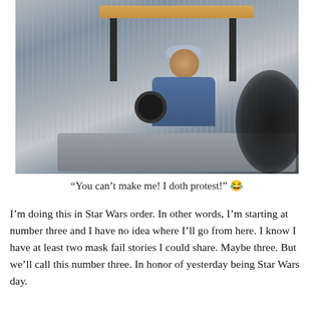[Figure (photo): A man wearing a cap and sunglasses driving a golf cart, photographed from a car. A wooden roof is visible on the cart. A dark blurred foreground object is visible on the right side.]
“You can’t make me! I doth protest!” 😂
I’m doing this in Star Wars order. In other words, I’m starting at number three and I have no idea where I’ll go from here. I know I have at least two mask fail stories I could share. Maybe three. But we’ll call this number three. In honor of yesterday being Star Wars day.